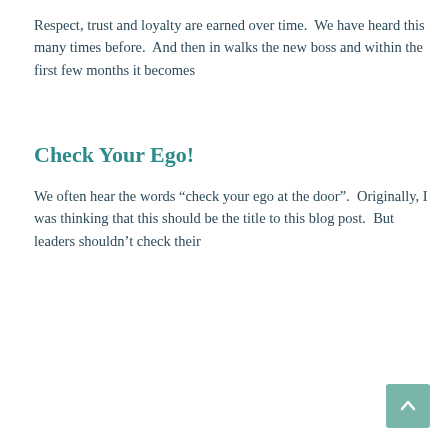Respect, trust and loyalty are earned over time.  We have heard this many times before.  And then in walks the new boss and within the first few months it becomes
Check Your Ego!
We often hear the words “check your ego at the door”.  Originally, I was thinking that this should be the title to this blog post.  But leaders shouldn’t check their